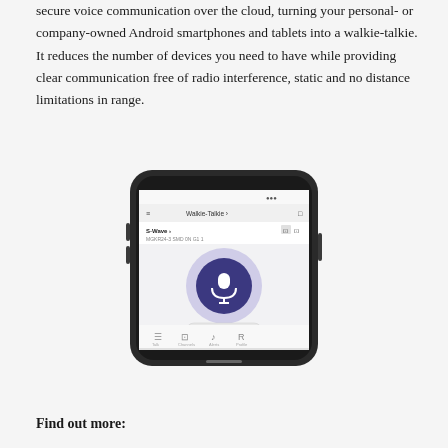secure voice communication over the cloud, turning your personal- or company-owned Android smartphones and tablets into a walkie-talkie. It reduces the number of devices you need to have while providing clear communication free of radio interference, static and no distance limitations in range.
[Figure (photo): A smartphone displaying a walkie-talkie/push-to-talk app interface with a large microphone button in a purple circle on a dark background, and a navigation bar at the bottom.]
Find out more: